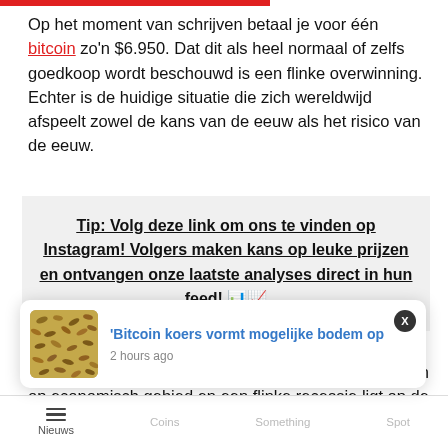Op het moment van schrijven betaal je voor één bitcoin zo'n $6.950. Dat dit als heel normaal of zelfs goedkoop wordt beschouwd is een flinke overwinning. Echter is de huidige situatie die zich wereldwijd afspeelt zowel de kans van de eeuw als het risico van de eeuw.
Tip: Volg deze link om ons te vinden op Instagram! Volgers maken kans op leuke prijzen en ontvangen onze laatste analyses direct in hun feed! 📊📈
Slechter dat nu hebben we er in jaren niet voorgestaan op economisch gebied en een flinke recessie ligt op de loer, als we daar al niet middenin zitten. Zoals jullie
[Figure (screenshot): Notification popup showing 'Bitcoin koers vormt mogelijke bodem op' with thumbnail image of nuts/seeds, timestamp '2 hours ago']
Nieuws  Coins  Something  Spot